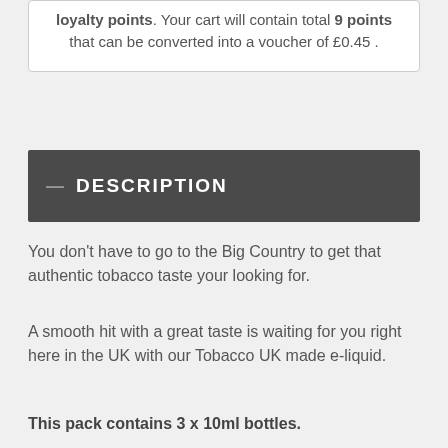loyalty points. Your cart will contain total 9 points that can be converted into a voucher of £0.45.
DESCRIPTION
You don't have to go to the Big Country to get that authentic tobacco taste your looking for.
A smooth hit with a great taste is waiting for you right here in the UK with our Tobacco UK made e-liquid.
This pack contains 3 x 10ml bottles.